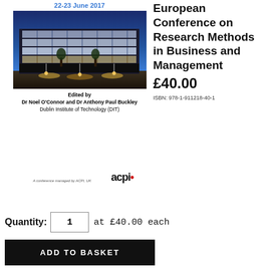22-23 June 2017
[Figure (photo): Photograph of a modern university building at dusk with illuminated glass facade]
Edited by
Dr Noel O'Connor and Dr Anthony Paul Buckley
Dublin Institute of Technology (DIT)
A conference managed by ACPI, UK
European Conference on Research Methods in Business and Management
£40.00
ISBN: 978-1-911218-40-1
Quantity: 1 at £40.00 each
ADD TO BASKET